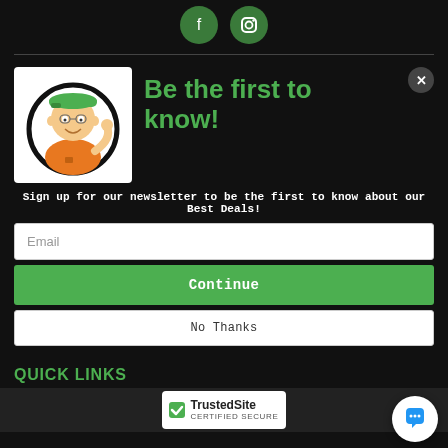[Figure (other): Social media icons: Facebook and Instagram, circular dark green buttons on black background]
[Figure (illustration): Cartoon mascot: a boy with green cap and orange t-shirt giving thumbs up inside a circle]
Be the first to know!
Sign up for our newsletter to be the first to know about our Best Deals!
Email
Continue
No Thanks
QUICK LINKS
[Figure (logo): TrustedSite Certified Secure badge with checkmark]
[Figure (other): Chat button - white circle with blue speech bubble icon]